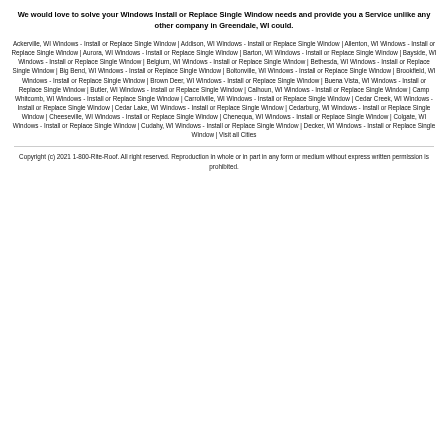We would love to solve your Windows Install or Replace Single Window needs and provide you a Service unlike any other company in Greendale, WI could.
Ackerville, WI Windows - Install or Replace Single Window | Addison, WI Windows - Install or Replace Single Window | Allenton, WI Windows - Install or Replace Single Window | Aurora, WI Windows - Install or Replace Single Window | Barton, WI Windows - Install or Replace Single Window | Bayside, WI Windows - Install or Replace Single Window | Belgium, WI Windows - Install or Replace Single Window | Bethesda, WI Windows - Install or Replace Single Window | Big Bend, WI Windows - Install or Replace Single Window | Boltonville, WI Windows - Install or Replace Single Window | Brookfield, WI Windows - Install or Replace Single Window | Brown Deer, WI Windows - Install or Replace Single Window | Buena Vista, WI Windows - Install or Replace Single Window | Butler, WI Windows - Install or Replace Single Window | Calhoun, WI Windows - Install or Replace Single Window | Camp Whitcomb, WI Windows - Install or Replace Single Window | Carrollville, WI Windows - Install or Replace Single Window | Cedar Creek, WI Windows - Install or Replace Single Window | Cedar Lake, WI Windows - Install or Replace Single Window | Cedarburg, WI Windows - Install or Replace Single Window | Cheeseville, WI Windows - Install or Replace Single Window | Chenequa, WI Windows - Install or Replace Single Window | Colgate, WI Windows - Install or Replace Single Window | Cudahy, WI Windows - Install or Replace Single Window | Decker, WI Windows - Install or Replace Single Window | Visit all Cities
Copyright (c) 2021 1-800-Rite-Roof. All right reserved. Reproduction in whole or in part in any form or medium without express written permission is prohibited.